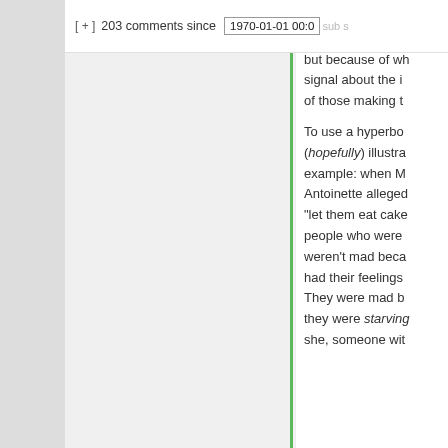[ + ]  203 comments since  1970-01-01 00:0
problem isn't som nebulous emotion but because of wh signal about the i of those making t
To use a hyperbo (hopefully) illustra example: when M Antoinette alleged "let them eat cake people who were weren't mad beca had their feelings They were mad b they were starving she, someone wit